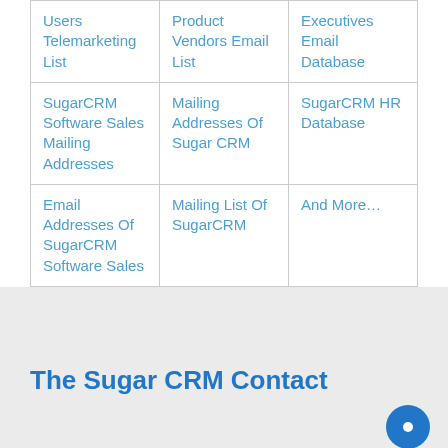| Users Telemarketing List | Product Vendors Email List | Executives Email Database |
| SugarCRM Software Sales Mailing Addresses | Mailing Addresses Of Sugar CRM | SugarCRM HR Database |
| Email Addresses Of SugarCRM Software Sales | Mailing List Of SugarCRM | And More... |
The Sugar CRM Contact